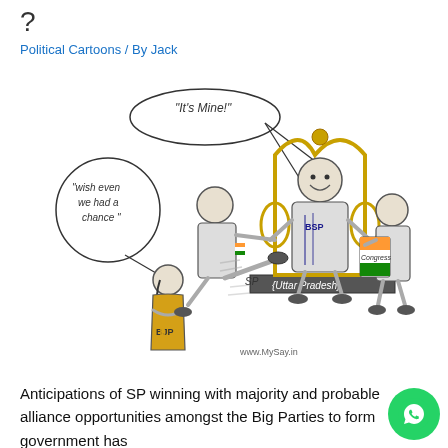?
Political Cartoons / By Jack
[Figure (illustration): Political cartoon showing figures labeled BSP (seated on throne labeled 'Uttar Pradesh'), SP (kicking), Congress (pulling), and BJP (small figure standing aside with speech bubble 'wish even we had a chance'). A speech bubble at top says 'It's Mine!' with arrows pointing to the BSP figure. Website watermark: www.MySay.in]
Anticipations of SP winning with majority and probable alliance opportunities amongst the Big Parties to form government has